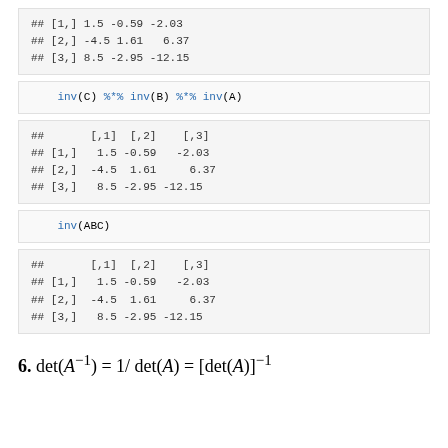## [1,]  1.5 -0.59  -2.03
## [2,] -4.5  1.61   6.37
## [3,]  8.5 -2.95 -12.15
inv(C) %*% inv(B) %*% inv(A)
##      [,1]  [,2]   [,3]
## [1,]  1.5 -0.59  -2.03
## [2,] -4.5  1.61   6.37
## [3,]  8.5 -2.95 -12.15
inv(ABC)
##      [,1]  [,2]   [,3]
## [1,]  1.5 -0.59  -2.03
## [2,] -4.5  1.61   6.37
## [3,]  8.5 -2.95 -12.15